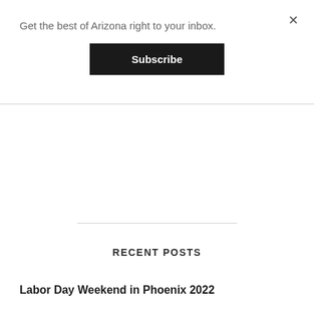Get the best of Arizona right to your inbox.
Subscribe
RECENT POSTS
Labor Day Weekend in Phoenix 2022